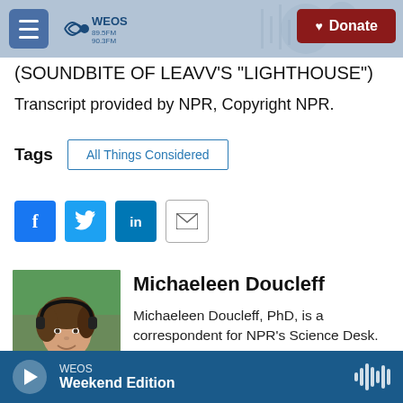WEOS 89.5FM 90.3FM Geneva — Donate
(SOUNDBITE OF LEAVV'S "LIGHTHOUSE")
Transcript provided by NPR, Copyright NPR.
Tags  All Things Considered
[Figure (screenshot): Social sharing buttons: Facebook, Twitter, LinkedIn, Email]
[Figure (photo): Headshot photo of Michaeleen Doucleff]
Michaeleen Doucleff
Michaeleen Doucleff, PhD, is a correspondent for NPR's Science Desk. For nearly a decade, she has been
WEOS  Weekend Edition